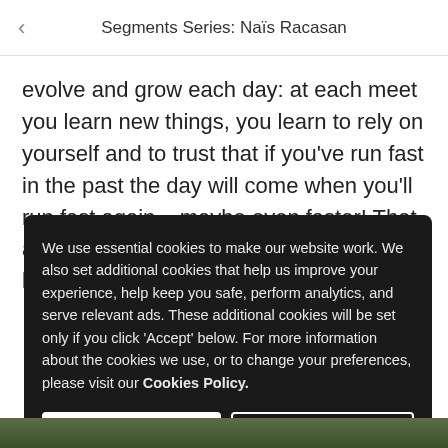Segments Series: Naïs Racasan
evolve and grow each day: at each meet you learn new things, you learn to rely on yourself and to trust that if you've run fast in the past the day will come when you'll run fast again – maybe even faster! That allows you to be a bit more relaxed and less stressed
We use essential cookies to make our website work. We also set additional cookies that help us improve your experience, help keep you safe, perform analytics, and serve relevant ads. These additional cookies will be set only if you click 'Accept' below. For more information about the cookies we use, or to change your preferences, please visit our Cookies Policy.
I accept
Reject